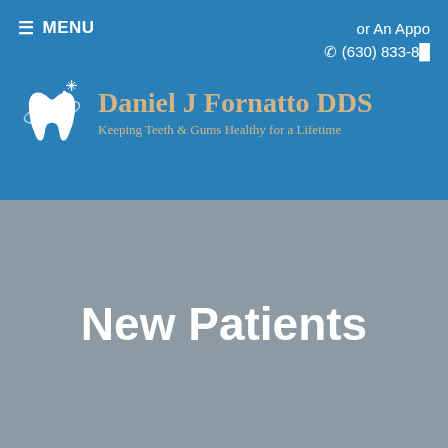≡ MENU
or An Appo
☏ (630) 833-8[truncated]
[Figure (logo): Daniel J Fornatto DDS dental practice logo with white tooth icon and sparkle, text reads: Daniel J Fornatto DDS, Keeping Teeth & Gums Healthy for a Lifetime]
New Patients